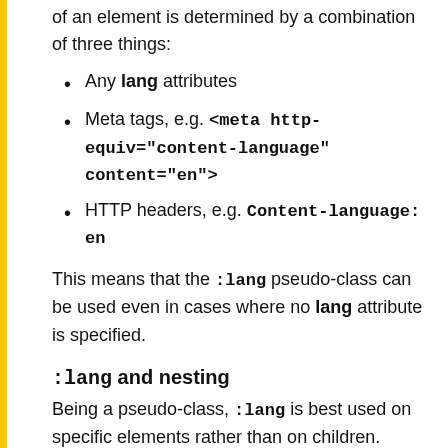of an element is determined by a combination of three things:
Any lang attributes
Meta tags, e.g. <meta http-equiv="content-language" content="en">
HTTP headers, e.g. Content-language: en
This means that the :lang pseudo-class can be used even in cases where no lang attribute is specified.
:lang and nesting
Being a pseudo-class, :lang is best used on specific elements rather than on children.